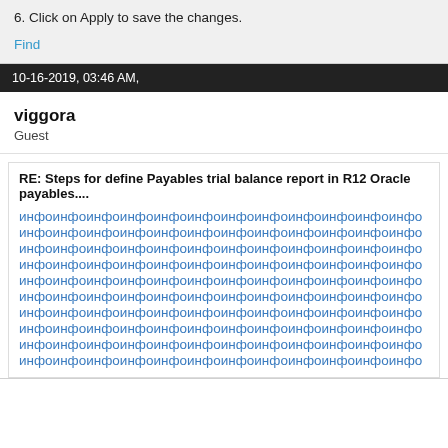6. Click on Apply to save the changes.
Find
10-16-2019, 03:46 AM,
viggora
Guest
RE: Steps for define Payables trial balance report in R12 Oracle payables....
инфоинфоинфоинфоинфоинфоинфоинфоинфоинфоинфоинфо (repeated lines)